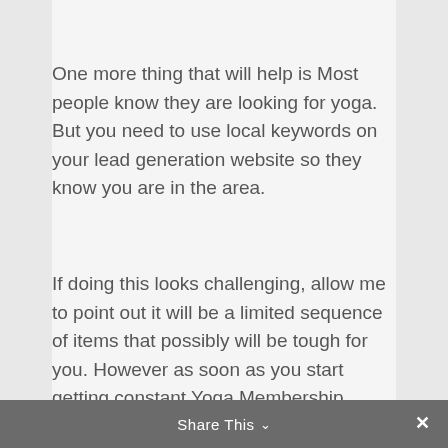One more thing that will help is Most people know they are looking for yoga. But you need to use local keywords on your lead generation website so they know you are in the area.
If doing this looks challenging, allow me to point out it will be a limited sequence of items that possibly will be tough for you. However as soon as you start getting constant Yoga Membership sales you are likely to enjoy the value of everything you have built. Remember, if you put a
Share This